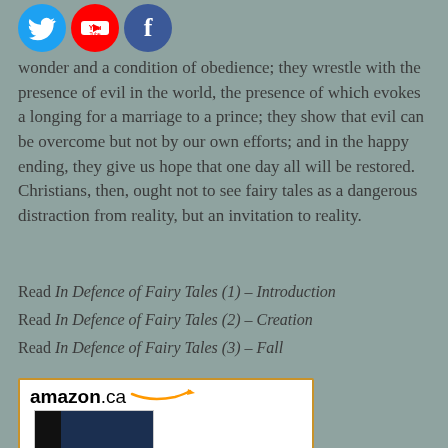wonder and a condition of obedience; they wrestle with the presence of evil in the world, the presence of which evokes a longing for a marriage to a prince; they show that evil can be overcome but not by our own efforts; and in the happy ending, they give us hope that one day all will be restored.  Christians, then, ought not to see fairy tales as a dangerous distraction from reality, but an invitation to reality.
[Figure (infographic): Social media icons: Twitter (blue bird), YouTube (red), Facebook (blue f)]
Read In Defence of Fairy Tales (1) – Introduction
Read In Defence of Fairy Tales (2) – Creation
Read In Defence of Fairy Tales (3) – Fall
[Figure (other): Amazon.ca product listing widget showing book 'Orthodoxy' with book cover image]
Orthodoxy